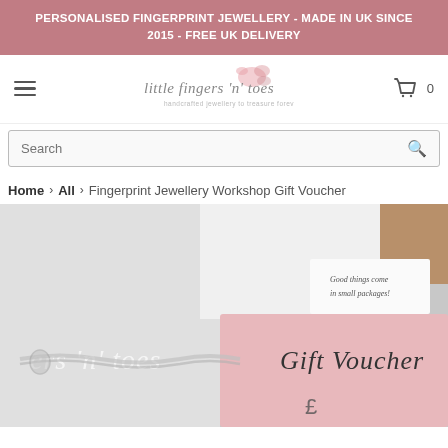PERSONALISED FINGERPRINT JEWELLERY - MADE IN UK SINCE 2015 - FREE UK DELIVERY
[Figure (logo): Little Fingers n Toes logo with floral decoration and tagline]
Search
Home > All > Fingerprint Jewellery Workshop Gift Voucher
[Figure (photo): Product photo showing a gift voucher card reading 'Gift Voucher' on pink background alongside a silver bracelet, with a small card reading 'Good things come in small packages!' visible at top]